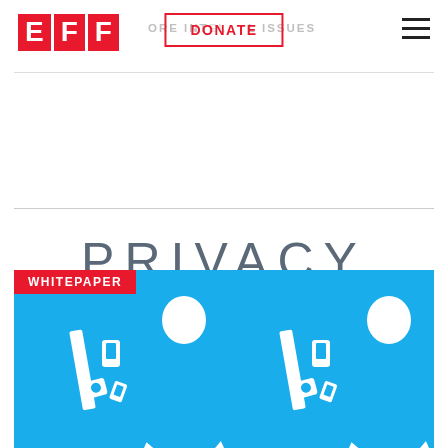[Figure (logo): EFF logo — three red block letters E, F, F]
...ORE INTEL...L ISSUES
[Figure (other): DONATE button with red border]
[Figure (other): Hamburger menu icon (three horizontal lines)]
PRIVACY
[Figure (illustration): Whitepaper card with red WHITEPAPER badge. Blue background showing two repeated white icon groups: a figure with laptop/phone/camera devices scattered around, representing border search or device inspection scenarios.]